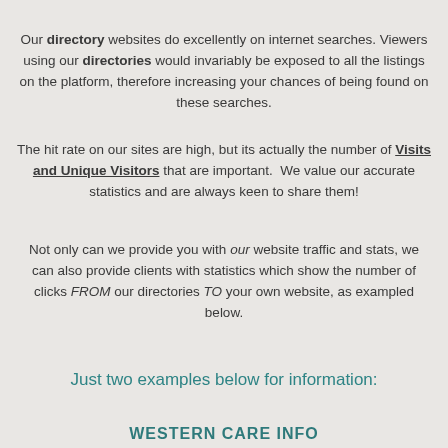Our directory websites do excellently on internet searches. Viewers using our directories would invariably be exposed to all the listings on the platform, therefore increasing your chances of being found on these searches.
The hit rate on our sites are high, but its actually the number of Visits and Unique Visitors that are important.  We value our accurate statistics and are always keen to share them!
Not only can we provide you with our website traffic and stats, we can also provide clients with statistics which show the number of clicks FROM our directories TO your own website, as exampled below.
Just two examples below for information:
WESTERN CARE INFO